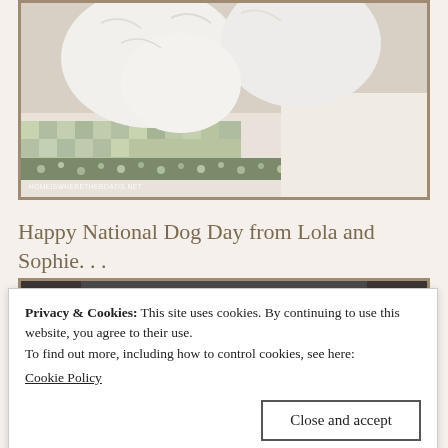[Figure (photo): White fluffy dogs resting on a bed with a blue and white floral patchwork quilt/bedspread. Watermark text reads: HOMEISWHERETHEBOATIS.NET]
Happy National Dog Day from Lola and Sophie. . .
[Figure (photo): Partially visible second photo showing dogs or text at bottom, content partially obscured by cookie banner]
Privacy & Cookies: This site uses cookies. By continuing to use this website, you agree to their use.
To find out more, including how to control cookies, see here:
Cookie Policy
Close and accept